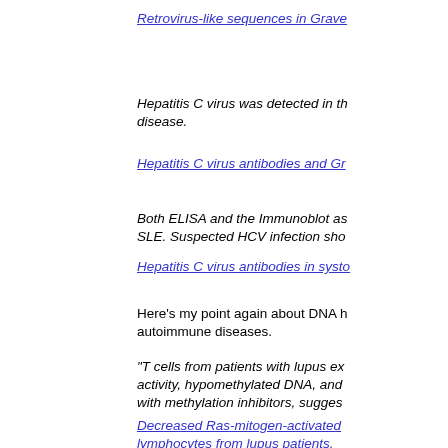Retrovirus-like sequences in Grave [link, truncated]
Hepatitis C virus was detected in th... disease.
Hepatitis C virus antibodies and Gr [link, truncated]
Both ELISA and the Immunoblot as... SLE. Suspected HCV infection sho...
Hepatitis C virus antibodies in systo [link, truncated]
Here's my point again about DNA h... autoimmune diseases.
"T cells from patients with lupus ex... activity, hypomethylated DNA, and ... with methylation inhibitors, sugges...
Decreased Ras-mitogen-activated ... lymphocytes from lupus patients.
I had the symptoms of Grave's dise...
"Graves' disease are identical to th... Graves' disease. Classic symptom...